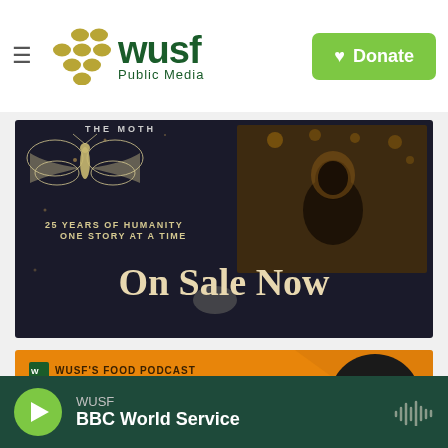[Figure (logo): WUSF Public Media logo with golden dots and green wordmark]
[Figure (illustration): The Moth event promotional banner: dark background, moth illustration, person silhouette at microphone, text '25 YEARS OF HUMANITY ONE STORY AT A TIME' and 'On Sale Now']
[Figure (illustration): WUSF's Food Podcast 'the Table' promo card with orange background and lemons on dark plate]
WUSF
BBC World Service